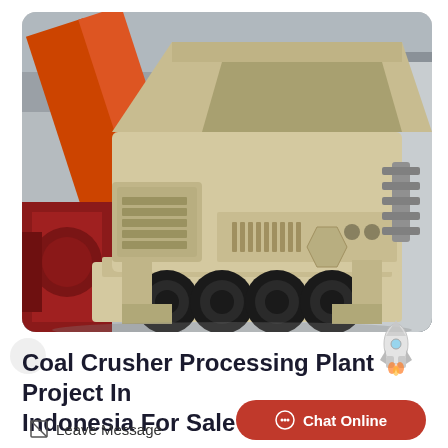[Figure (photo): A large mobile coal crusher processing plant machine on a truck/trailer, painted in beige/cream color with an orange crane arm visible in the background. The heavy industrial equipment has multiple wheels and is photographed in an industrial yard setting.]
Coal Crusher Processing Plant Project In Indonesia For Sale
Leave Message
Chat Online